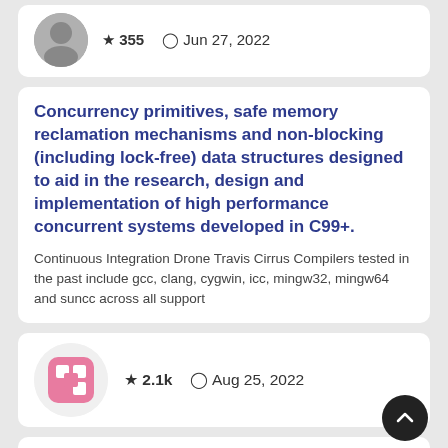[Figure (photo): User avatar photo (partial, top), star icon with count 355, clock icon with date Jun 27, 2022]
Concurrency primitives, safe memory reclamation mechanisms and non-blocking (including lock-free) data structures designed to aid in the research, design and implementation of high performance concurrent systems developed in C99+.
Continuous Integration Drone Travis Cirrus Compilers tested in the past include gcc, clang, cygwin, icc, mingw32, mingw64 and suncc across all support
[Figure (logo): Pink and white logo icon (robotic/grid face design), star icon with 2.1k, clock icon with Aug 25, 2022]
A C++17 thread pool for high-performance scientific computing.
We present a modern C++17-compatible thread pool implementation, built from scratch with high-performance